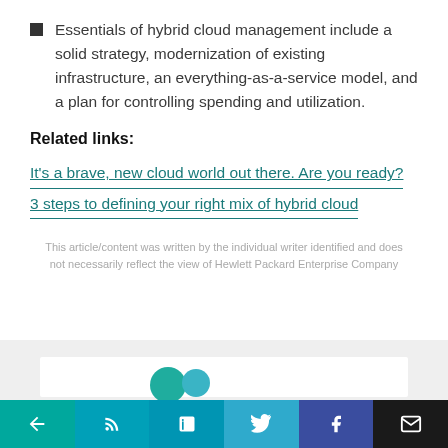Essentials of hybrid cloud management include a solid strategy, modernization of existing infrastructure, an everything-as-a-service model, and a plan for controlling spending and utilization.
Related links:
It's a brave, new cloud world out there. Are you ready?
3 steps to defining your right mix of hybrid cloud
This article/content was written by the individual writer identified and does not necessarily reflect the view of Hewlett Packard Enterprise Company
[Figure (other): Gray section with a white card and two overlapping circles (teal and blue)]